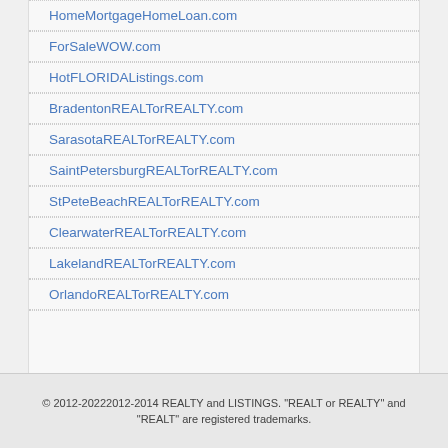HomeMortgageHomeLoan.com
ForSaleWOW.com
HotFLORIDAListings.com
BradentonREALTorREALTY.com
SarasotaREALTorREALTY.com
SaintPetersburgREALTorREALTY.com
StPeteBeachREALTorREALTY.com
ClearwaterREALTorREALTY.com
LakelandREALTorREALTY.com
OrlandoREALTorREALTY.com
© 2012-20222012-2014 REALTY and LISTINGS. "REALT or REALTY" and "REALT" are registered trademarks.